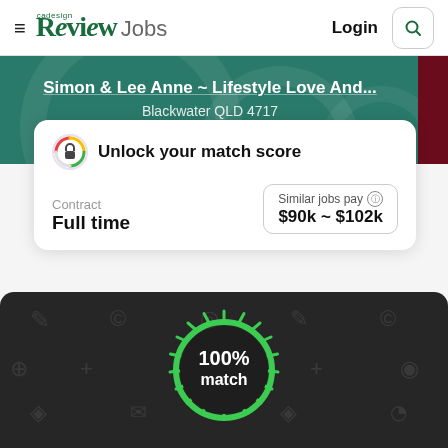≡ cadesign Review Jobs   Login 🔍
Simon & Lee Anne ~ Lifestyle Love And...
Blackwater QLD 4717
[Figure (infographic): Unlock your match score banner with lock icon]
Contract
Full time
Similar jobs pay ⓘ
$90k ~ $102k
[Figure (infographic): Dark background card with 100% match circular progress indicator in green]